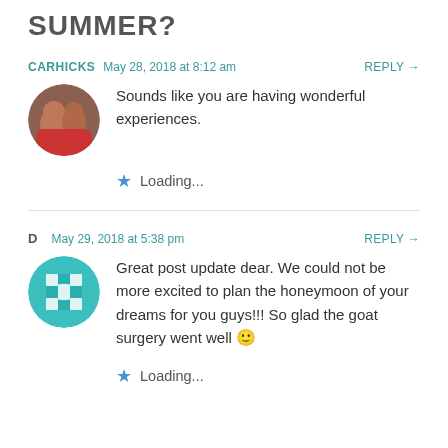SUMMER?
CARHICKS  May 28, 2018 at 8:12 am  REPLY →
Sounds like you are having wonderful experiences.
Loading...
D  May 29, 2018 at 5:38 pm  REPLY →
Great post update dear. We could not be more excited to plan the honeymoon of your dreams for you guys!!! So glad the goat surgery went well 🙂
Loading...